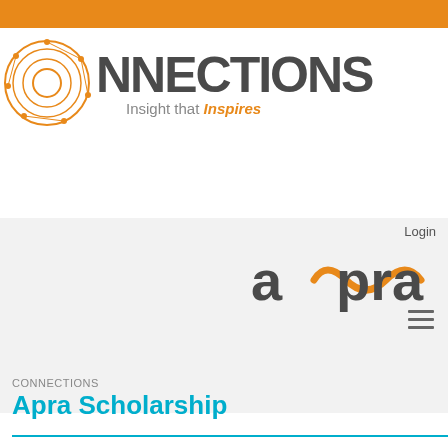[Figure (logo): Orange top bar banner]
[Figure (logo): CONNECTIONS logo with circular orange icon and tagline 'Insight that Inspires']
Login
[Figure (logo): Apra logo in dark gray with orange infinity-style symbol]
[Figure (other): Hamburger menu icon (three horizontal lines)]
CONNECTIONS
Apra Scholarship